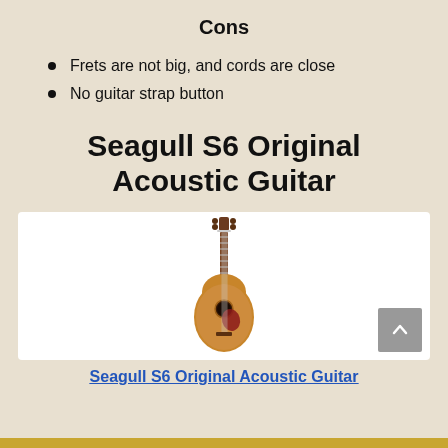Cons
Frets are not big, and cords are close
No guitar strap button
Seagull S6 Original Acoustic Guitar
[Figure (photo): Photo of a Seagull S6 Original Acoustic Guitar, a dreadnought-style acoustic guitar with natural wood finish and red tortoiseshell pickguard]
Seagull S6 Original Acoustic Guitar